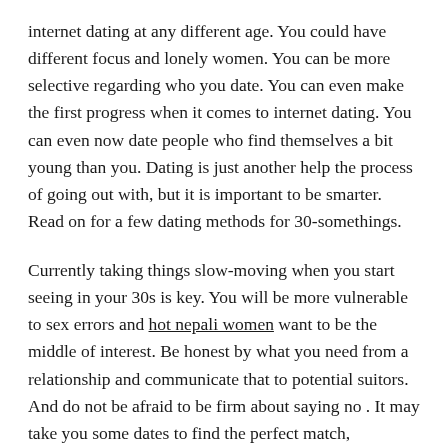internet dating at any different age. You could have different focus and lonely women. You can be more selective regarding who you date. You can even make the first progress when it comes to internet dating. You can even now date people who find themselves a bit young than you. Dating is just another help the process of going out with, but it is important to be smarter. Read on for a few dating methods for 30-somethings.
Currently taking things slow-moving when you start seeing in your 30s is key. You will be more vulnerable to sex errors and hot nepali women want to be the middle of interest. Be honest by what you need from a relationship and communicate that to potential suitors. And do not be afraid to be firm about saying no . It may take you some dates to find the perfect match, nonetheless it's well worth the effort.